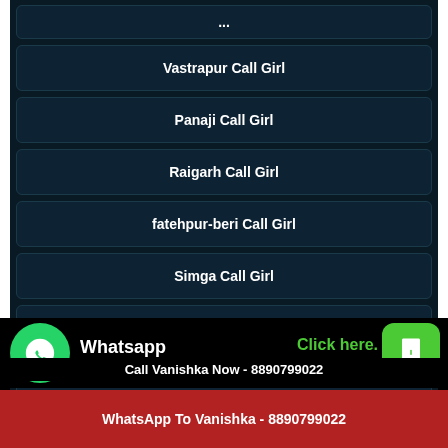Vastrapur Call Girl
Panaji Call Girl
Raigarh Call Girl
fatehpur-beri Call Girl
Simga Call Girl
Parimalgarden Call Girl
Solang Call Girl
Whatsapp click to chat
Click here.
Call Vanishka Now - 8890799022
WhatsApp To Vanishka - 8890799022